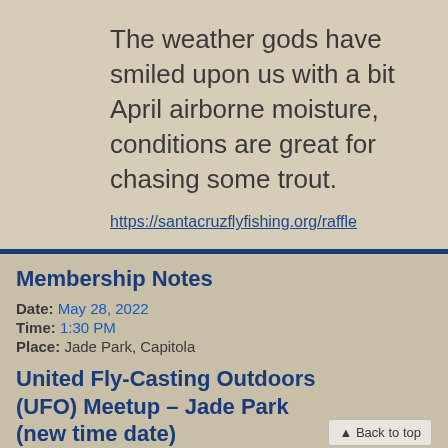The weather gods have smiled upon us with a bit April airborne moisture, conditions are great for chasing some trout.
https://santacruzflyfishing.org/raffle
Membership Notes
Date: May 28, 2022
Time: 1:30 PM
Place: Jade Park, Capitola
United Fly-Casting Outdoors (UFO) Meetup – Jade Park (new time date)
by Steve Rudzinski - Casting Chairman